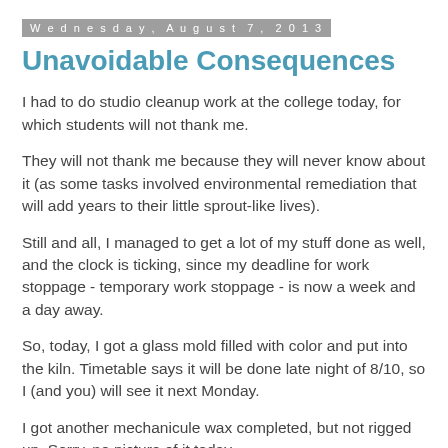Wednesday, August 7, 2013
Unavoidable Consequences
I had to do studio cleanup work at the college today, for which students will not thank me.
They will not thank me because they will never know about it (as some tasks involved environmental remediation that will add years to their little sprout-like lives).
Still and all, I managed to get a lot of my stuff done as well, and the clock is ticking, since my deadline for work stoppage - temporary work stoppage - is now a week and a day away.
So, today, I got a glass mold filled with color and put into the kiln. Timetable says it will be done late night of 8/10, so I (and you) will see it next Monday.
I got another mechanicule wax completed, but not rigged up. Sorry, no picture of it today.